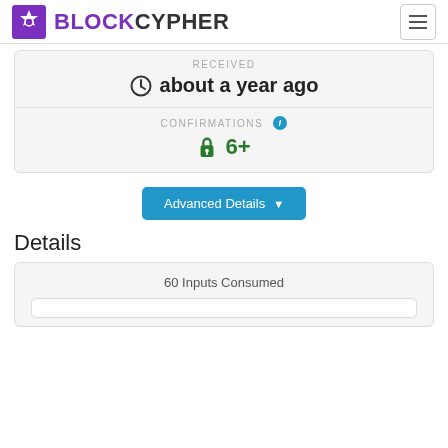BLOCKCYPHER
RECEIVED
about a year ago
CONFIRMATIONS
🔒 6+
Advanced Details
Details
60 Inputs Consumed